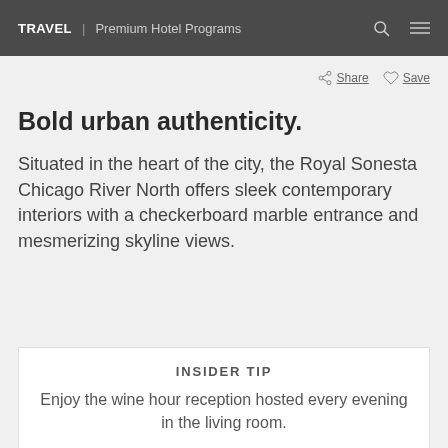TRAVEL | Premium Hotel Programs
Share  Save
Bold urban authenticity.
Situated in the heart of the city, the Royal Sonesta Chicago River North offers sleek contemporary interiors with a checkerboard marble entrance and mesmerizing skyline views.
INSIDER TIP
Enjoy the wine hour reception hosted every evening in the living room.